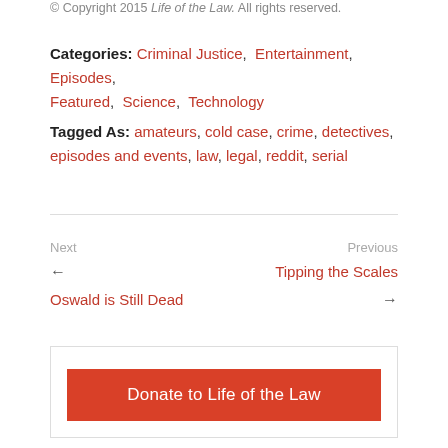© Copyright 2015 Life of the Law. All rights reserved.
Categories: Criminal Justice, Entertainment, Episodes, Featured, Science, Technology
Tagged As: amateurs, cold case, crime, detectives, episodes and events, law, legal, reddit, serial
Next   Previous
← Tipping the Scales
Oswald is Still Dead →